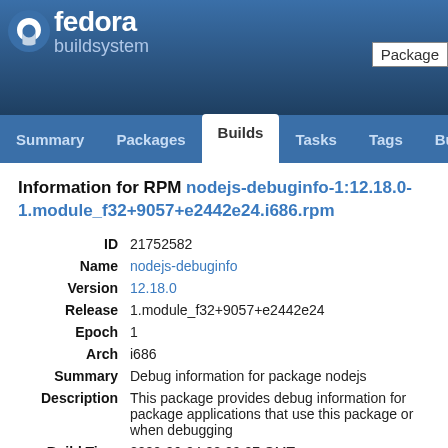fedora buildsystem
Information for RPM nodejs-debuginfo-1:12.18.0-1.module_f32+9057+e2442e24.i686.rpm
| Field | Value |
| --- | --- |
| ID | 21752582 |
| Name | nodejs-debuginfo |
| Version | 12.18.0 |
| Release | 1.module_f32+9057+e2442e24 |
| Epoch | 1 |
| Arch | i686 |
| Summary | Debug information for package nodejs |
| Description | This package provides debug information for package applications that use this package or when debugging |
| Build Time | 2020-06-04 22:09:07 GMT |
| Size | 20.15 KB |
| SIGMD5 | 9f6be2d4079d459789d5ccbecd4c8e77 |